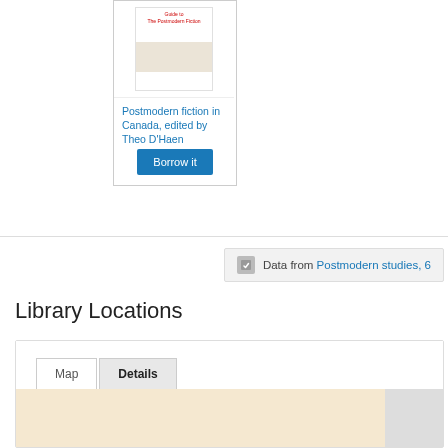[Figure (illustration): Book cover thumbnail for 'Postmodern fiction in Canada, edited by Theo D'Haen' showing a small book cover with decorative band]
Postmodern fiction in Canada, edited by Theo D'Haen
Borrow it
Data from Postmodern studies, 6
Library Locations
Map
Details